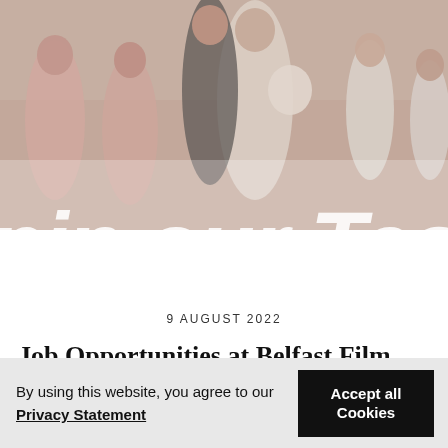[Figure (photo): Wedding party photo showing children in pink dresses, a bride in white holding flowers, groom in dark suit, and children/guests, overlaid with large white italic text reading 'Join our Tea' (partially cropped)]
9 AUGUST 2022
Job Opportunities at Belfast Film Festival!
By using this website, you agree to our Privacy Statement
Accept all Cookies